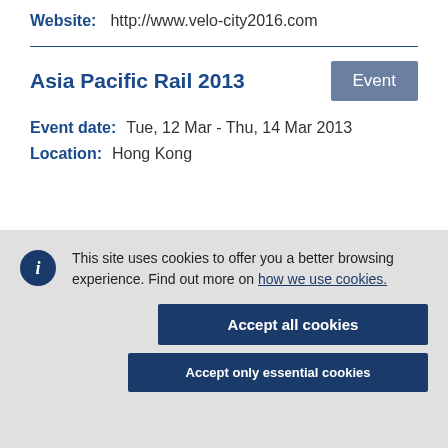Website:   http://www.velo-city2016.com
Asia Pacific Rail 2013
Event
Event date:   Tue, 12 Mar - Thu, 14 Mar 2013
Location:   Hong Kong
This site uses cookies to offer you a better browsing experience. Find out more on how we use cookies.
Accept all cookies
Accept only essential cookies